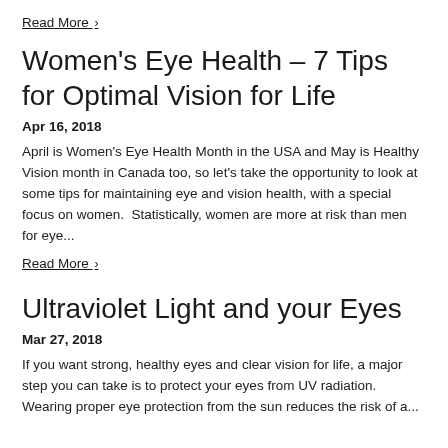Read More ›
Women's Eye Health – 7 Tips for Optimal Vision for Life
Apr 16, 2018
April is Women's Eye Health Month in the USA and May is Healthy Vision month in Canada too, so let's take the opportunity to look at some tips for maintaining eye and vision health, with a special focus on women.  Statistically, women are more at risk than men for eye...
Read More ›
Ultraviolet Light and your Eyes
Mar 27, 2018
If you want strong, healthy eyes and clear vision for life, a major step you can take is to protect your eyes from UV radiation. Wearing proper eye protection from the sun reduces the risk of a...